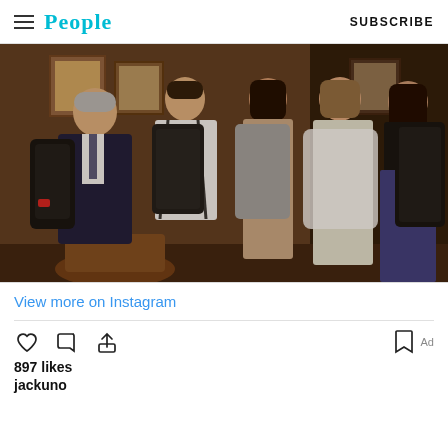People | SUBSCRIBE
[Figure (photo): Group photo of five people standing indoors, some carrying backpacks. An older man in a dark suit on the left, a young man in a white shirt, two younger women, and an older woman in a silver dress.]
View more on Instagram
897 likes
jackuno